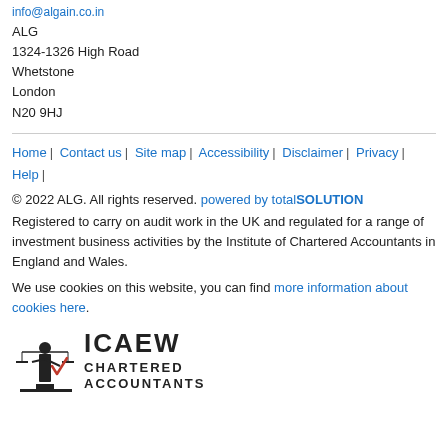info@algain.co.in
ALG
1324-1326 High Road
Whetstone
London
N20 9HJ
Home | Contact us | Site map | Accessibility | Disclaimer | Privacy | Help |
© 2022 ALG. All rights reserved. powered by totalSOLUTION
Registered to carry on audit work in the UK and regulated for a range of investment business activities by the Institute of Chartered Accountants in England and Wales.
We use cookies on this website, you can find more information about cookies here.
[Figure (logo): ICAEW Chartered Accountants logo with figure holding scales]